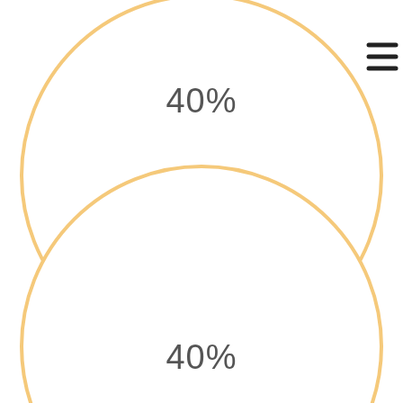[Figure (infographic): Two large circles with orange/golden outlines on white background. The top circle is partially cropped at top and left edges, with '40%' text centered inside it. A hamburger menu icon (three horizontal lines) appears at the top right corner. The label 'Target List' appears between the two circles. The bottom circle is partially cropped at bottom and left edges, with '40%' text centered inside it.]
40%
Target List
40%